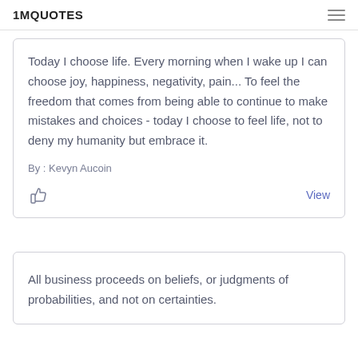1MQUOTES
Today I choose life. Every morning when I wake up I can choose joy, happiness, negativity, pain... To feel the freedom that comes from being able to continue to make mistakes and choices - today I choose to feel life, not to deny my humanity but embrace it.
By : Kevyn Aucoin
View
All business proceeds on beliefs, or judgments of probabilities, and not on certainties.